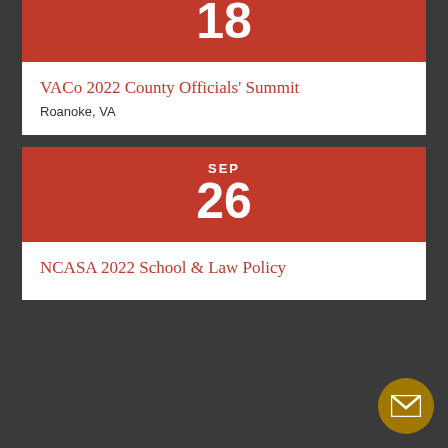[Figure (photo): White rectangle area representing an image or banner at top of page]
UPCOMING EVENTS
AUG
18
VACo 2022 County Officials' Summit
Roanoke, VA
SEP
26
NCASA 2022 School & Law Policy